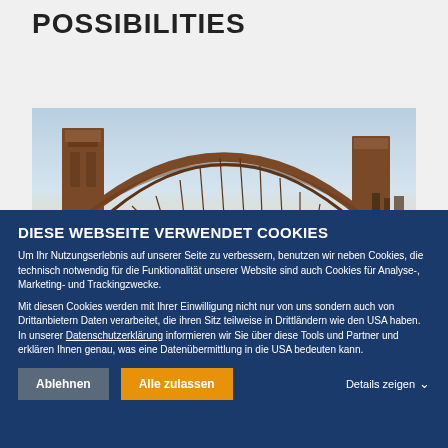POSSIBILITIES
[Figure (photo): Photo of Sydney Harbour Bridge against a dusk/blue sky, brown steel arch structure with pylons]
DIESE WEBSEITE VERWENDET COOKIES
Um Ihr Nutzungserlebnis auf unserer Seite zu verbessern, benutzen wir neben Cookies, die technisch notwendig für die Funktionalität unserer Website sind auch Cookies für Analyse-, Marketing- und Trackingzwecke.
Mit diesen Cookies werden mit Ihrer Einwilligung nicht nur von uns sondern auch von Drittanbietern Daten verarbeitet, die ihren Sitz teilweise in Drittländern wie den USA haben. In unserer Datenschutzerklärung informieren wir Sie über diese Tools und Partner und erklären Ihnen genau, was eine Datenübermittlung in die USA bedeuten kann.
Ablehnen | Alle zulassen | Details zeigen